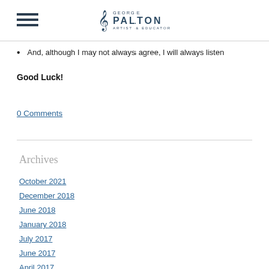GEORGE PALTON ARTIST & EDUCATOR
And, although I may not always agree, I will always listen
Good Luck!
0 Comments
Archives
October 2021
December 2018
June 2018
January 2018
July 2017
June 2017
April 2017